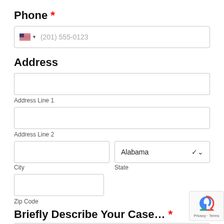Phone *
(201) 555-0123
Address
Address Line 1
Address Line 2
City
State: Alabama
Zip Code
Briefly Describe Your Case... *